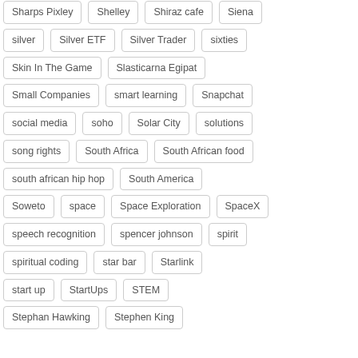Sharps Pixley
Shelley
Shiraz cafe
Siena
silver
Silver ETF
Silver Trader
sixties
Skin In The Game
Slasticarna Egipat
Small Companies
smart learning
Snapchat
social media
soho
Solar City
solutions
song rights
South Africa
South African food
south african hip hop
South America
Soweto
space
Space Exploration
SpaceX
speech recognition
spencer johnson
spirit
spiritual coding
star bar
Starlink
start up
StartUps
STEM
Stephan Hawking
Stephen King